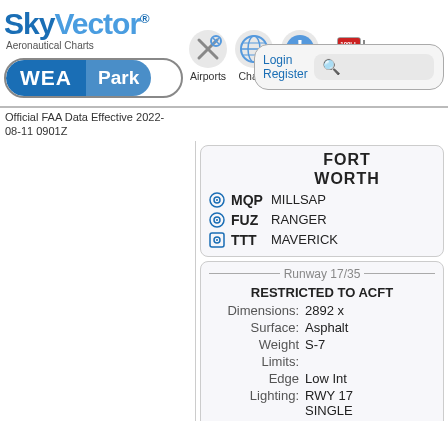SkyVector Aeronautical Charts — Airports, Charts, Help, Fuel Prices
WEA Park
Official FAA Data Effective 2022-08-11 0901Z
FORT WORTH
⊙ MQP MILLSAP
⊙ FUZ RANGER
⊡ TTT MAVERICK
Runway 17/35
RESTRICTED TO ACFT
Dimensions: 2892 x
Surface: Asphalt
Weight Limits: S-7
Edge Lighting: Low Int
Lighting: RWY 17 SINGLE RWY.
Runway Coordinates: N32&4